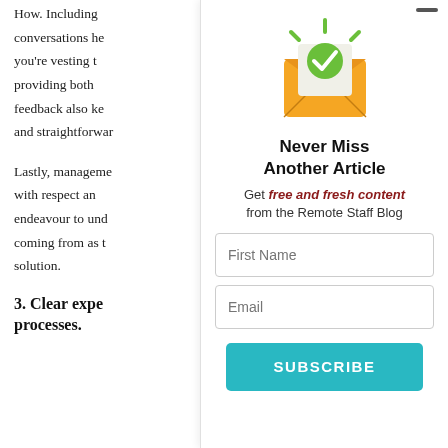How. Including conversations he you're vesting t providing both feedback also ke and straightforwar
Lastly, manageme with respect an endeavour to und coming from as t solution.
3. Clear expe processes.
[Figure (illustration): Orange envelope icon with a green checkmark badge and green sparkle lines radiating from it, indicating a newsletter subscription confirmation.]
Never Miss Another Article
Get free and fresh content from the Remote Staff Blog
First Name
Email
SUBSCRIBE